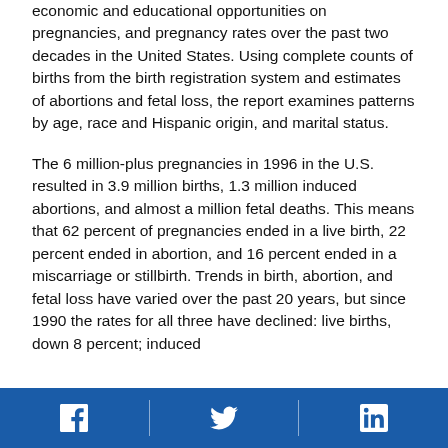economic and educational opportunities on pregnancies, and pregnancy rates over the past two decades in the United States. Using complete counts of births from the birth registration system and estimates of abortions and fetal loss, the report examines patterns by age, race and Hispanic origin, and marital status.
The 6 million-plus pregnancies in 1996 in the U.S. resulted in 3.9 million births, 1.3 million induced abortions, and almost a million fetal deaths. This means that 62 percent of pregnancies ended in a live birth, 22 percent ended in abortion, and 16 percent ended in a miscarriage or stillbirth. Trends in birth, abortion, and fetal loss have varied over the past 20 years, but since 1990 the rates for all three have declined: live births, down 8 percent; induced
[Facebook icon] [Twitter icon] [LinkedIn icon]